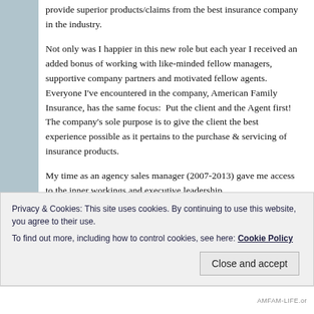provide superior products/claims from the best insurance company in the industry.
Not only was I happier in this new role but each year I received an added bonus of working with like-minded fellow managers, supportive company partners and motivated fellow agents.  Everyone I've encountered in the company, American Family Insurance, has the same focus:  Put the client and the Agent first!  The company's sole purpose is to give the client the best experience possible as it pertains to the purchase & servicing of insurance products.
My time as an agency sales manager (2007-2013) gave me access to the inner workings and executive leadership
Privacy & Cookies: This site uses cookies. By continuing to use this website, you agree to their use.
To find out more, including how to control cookies, see here: Cookie Policy